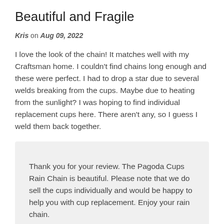Beautiful and Fragile
Kris on Aug 09, 2022
I love the look of the chain! It matches well with my Craftsman home. I couldn't find chains long enough and these were perfect. I had to drop a star due to several welds breaking from the cups. Maybe due to heating from the sunlight? I was hoping to find individual replacement cups here. There aren't any, so I guess I weld them back together.
Thank you for your review. The Pagoda Cups Rain Chain is beautiful. Please note that we do sell the cups individually and would be happy to help you with cup replacement. Enjoy your rain chain.